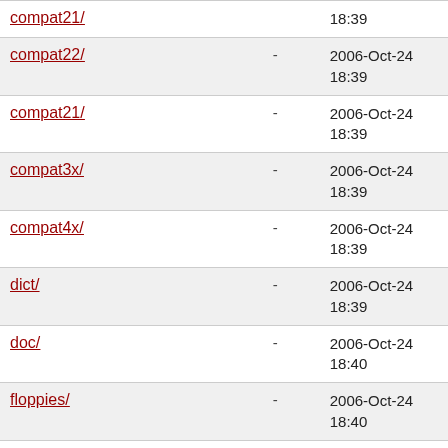| compat21/ | - | 18:39 |
| compat22/ | - | 2006-Oct-24 18:39 |
| compat21/ | - | 2006-Oct-24 18:39 |
| compat3x/ | - | 2006-Oct-24 18:39 |
| compat4x/ | - | 2006-Oct-24 18:39 |
| dict/ | - | 2006-Oct-24 18:39 |
| doc/ | - | 2006-Oct-24 18:40 |
| floppies/ | - | 2006-Oct-24 18:40 |
| games/ | - | 2006-Oct-24 18:40 |
| info/ | - | 2006-Oct-24 18:40 |
| manpages/ | - | 2006-Oct-24 18:40 |
| ports/ | - | 2006-Oct-24 |